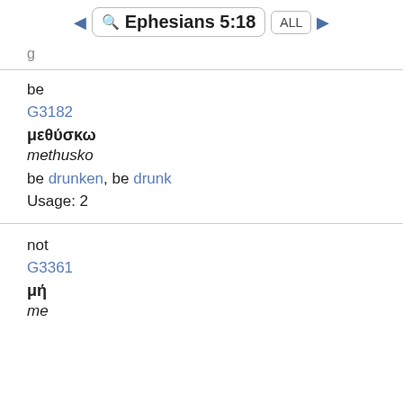◄ 🔍 Ephesians 5:18 ALL ►
g
be
G3182
μεθύσκω
methusko
be drunken, be drunk
Usage: 2
not
G3361
μή
me